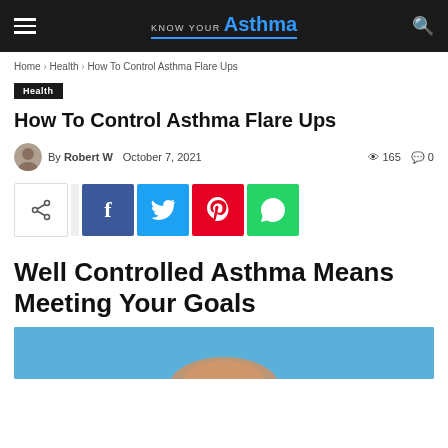KNOW YOUR Asthma
Home › Health › How To Control Asthma Flare Ups
Health
How To Control Asthma Flare Ups
By Robert W  October 7, 2021  165  0
[Figure (infographic): Social share buttons: native share, Facebook, Twitter, Pinterest, WhatsApp]
Well Controlled Asthma Means Meeting Your Goals
[Figure (photo): Partial photo of a person, blue background, cropped at bottom of page]